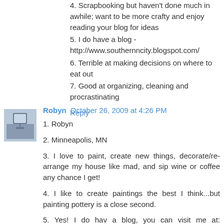4. Scrapbooking but haven't done much in awhile; want to be more crafty and enjoy reading your blog for ideas
5. I do have a blog - http://www.southernncity.blogspot.com/
6. Terrible at making decisions on where to eat out
7. Good at organizing, cleaning and procrastinating
Reply
Robyn October 26, 2009 at 4:26 PM
1. Robyn
2. Minneapolis, MN
3. I love to paint, create new things, decorate/re-arrange my house like mad, and sip wine or coffee any chance I get!
4. I like to create paintings the best I think...but painting pottery is a close second.
5. Yes! I do hav a blog, you can visit me at: http://razplerubyn.blogspot.com/